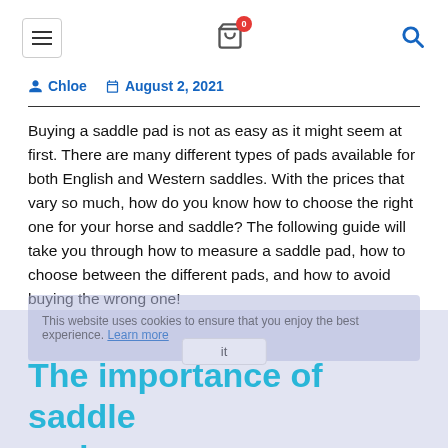Navigation header with hamburger menu, cart icon with badge 0, and search icon
Chloe   August 2, 2021
Buying a saddle pad is not as easy as it might seem at first. There are many different types of pads available for both English and Western saddles. With the prices that vary so much, how do you know how to choose the right one for your horse and saddle? The following guide will take you through how to measure a saddle pad, how to choose between the different pads, and how to avoid buying the wrong one!
The importance of saddle pads